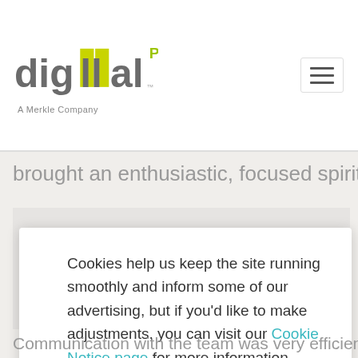[Figure (logo): Digital Pi logo – stylized text 'digital' with yellow/green highlighted 'll' letters, 'PI' superscript in green, 'A Merkle Company' tagline below]
brought an enthusiastic, focused spirit to the
Cookies help us keep the site running smoothly and inform some of our advertising, but if you'd like to make adjustments, you can visit our Cookie Notice page for more information.
OK
Communication with the team was very efficient, and